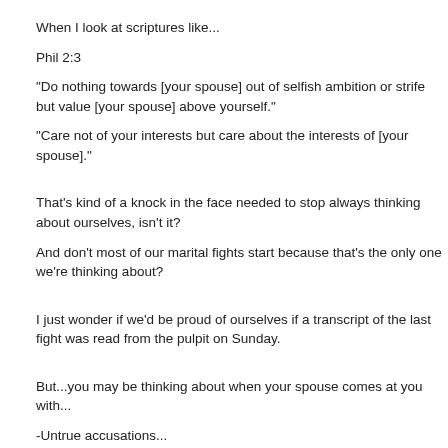When I look at scriptures like...
Phil 2:3
“Do nothing towards [your spouse] out of selfish ambition or strife but value [your spouse] above yourself.”
“Care not of your interests but care about the interests of [your spouse].”
That’s kind of a knock in the face needed to stop always thinking about ourselves, isn't it?
And don’t most of our marital fights start because that’s the only one we're thinking about?
I just wonder if we’d be proud of ourselves if a transcript of the last fight was read from the pulpit on Sunday.
But...you may be thinking about when your spouse comes at you with...
-Untrue accusations...
-Totally, self-centered criticisms